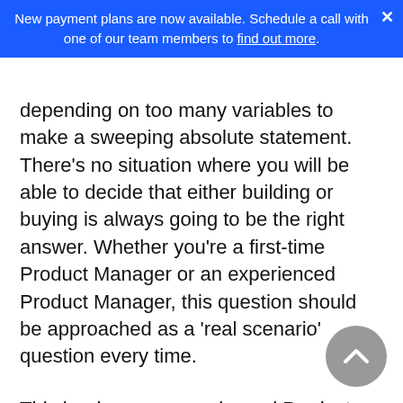New payment plans are now available. Schedule a call with one of our team members to find out more.
depending on too many variables to make a sweeping absolute statement. There's no situation where you will be able to decide that either building or buying is always going to be the right answer. Whether you're a first-time Product Manager or an experienced Product Manager, this question should be approached as a 'real scenario' question every time.
This is where an experienced Product Manager might lean heavily on their past experiences and give a knee-jerk response based on what has worked for them in the past. Newer PMs might try